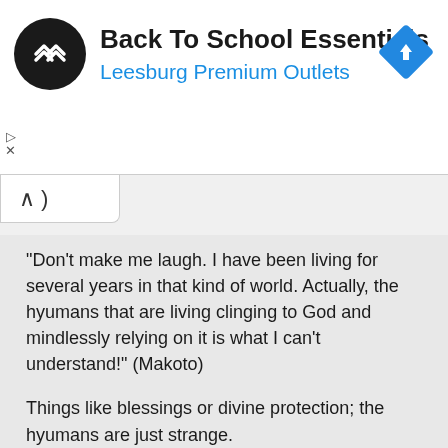[Figure (screenshot): Advertisement banner with circular black logo containing a double-arrow symbol, text 'Back To School Essentials' in bold and 'Leesburg Premium Outlets' in blue, and a blue diamond navigation icon on the right.]
“Don’t make me laugh. I have been living for several years in that kind of world. Actually, the hyumans that are living clinging to God and mindlessly relying on it is what I can’t understand!” (Makoto)
Things like blessings or divine protection; the hyumans are just strange.
At least try to develop magic and techniques by yourselfs.
If you are boasting big words like being the only God, I